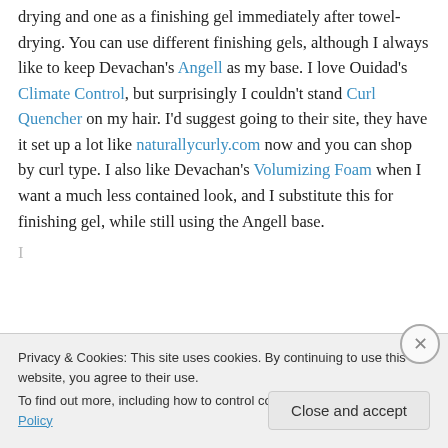drying and one as a finishing gel immediately after towel-drying. You can use different finishing gels, although I always like to keep Devachan's Angell as my base. I love Ouidad's Climate Control, but surprisingly I couldn't stand Curl Quencher on my hair. I'd suggest going to their site, they have it set up a lot like naturallycurly.com now and you can shop by curl type. I also like Devachan's Volumizing Foam when I want a much less contained look, and I substitute this for finishing gel, while still using the Angell base.
Privacy & Cookies: This site uses cookies. By continuing to use this website, you agree to their use. To find out more, including how to control cookies, see here: Cookie Policy